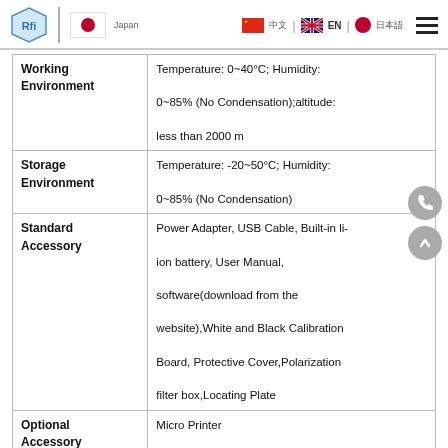RFI Global | Japan | EN | Japanese
| Parameter | Value |
| --- | --- |
| Working Environment | Temperature: 0~40°C; Humidity: 0~85% (No Condensation);altitude: less than 2000 m |
| Storage Environment | Temperature: -20~50°C; Humidity: 0~85% (No Condensation) |
| Standard Accessory | Power Adapter, USB Cable, Built-in li-ion battery, User Manual, software(download from the website),White and Black Calibration Board, Protective Cover,Polarization filter box,Locating Plate |
| Optional Accessory | Micro Printer |
| Notes: The specifications are subject to change |  |